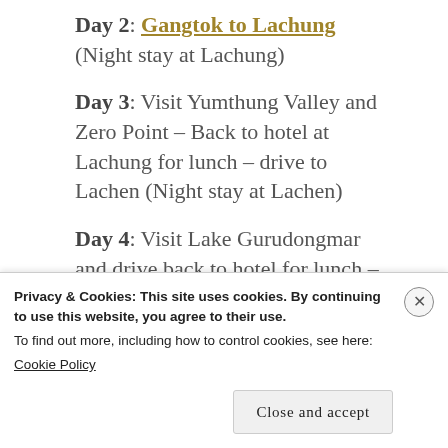Day 2: Gangtok to Lachung (Night stay at Lachung)
Day 3: Visit Yumthung Valley and Zero Point – Back to hotel at Lachung for lunch – drive to Lachen (Night stay at Lachen)
Day 4: Visit Lake Gurudongmar and drive back to hotel for lunch – return to Gangtok by evening
Privacy & Cookies: This site uses cookies. By continuing to use this website, you agree to their use.
To find out more, including how to control cookies, see here: Cookie Policy